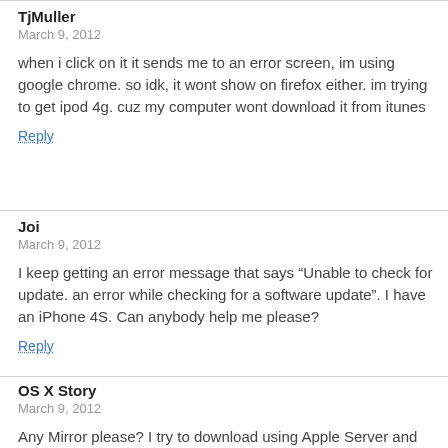TjMuller
March 9, 2012

when i click on it it sends me to an error screen, im using google chrome. so idk, it wont show on firefox either. im trying to get ipod 4g. cuz my computer wont download it from itunes

Reply
Joi
March 9, 2012

I keep getting an error message that says “Unable to check for update. an error while checking for a software update”. I have an iPhone 4S. Can anybody help me please?

Reply
OS X Story
March 9, 2012

Any Mirror please? I try to download using Apple Server and always fail :(